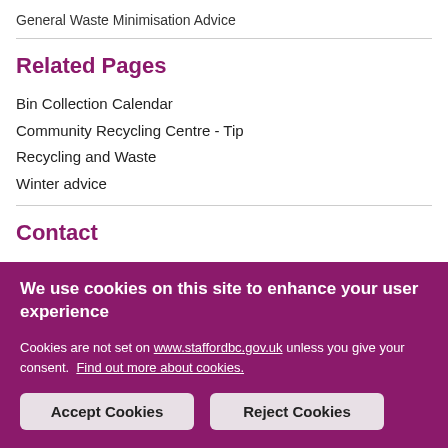General Waste Minimisation Advice
Related Pages
Bin Collection Calendar
Community Recycling Centre - Tip
Recycling and Waste
Winter advice
Contact
Tel: 01785 619402
We use cookies on this site to enhance your user experience
Cookies are not set on www.staffordbc.gov.uk unless you give your consent. Find out more about cookies.
Accept Cookies | Reject Cookies